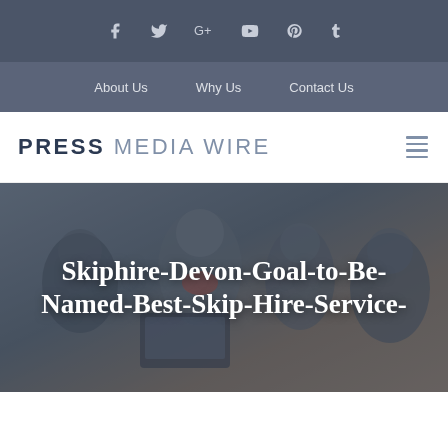Social icons: Facebook, Twitter, Google+, YouTube, Pinterest, Tumblr
About Us | Why Us | Contact Us
PRESS MEDIA WIRE
[Figure (photo): Group of people looking at a laptop together, dimly lit office environment, used as hero background image]
Skiphire-Devon-Goal-to-Be-Named-Best-Skip-Hire-Service-